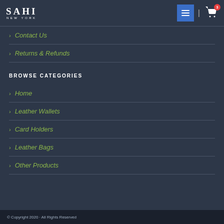SAHI NEW YORK
Contact Us
Returns & Refunds
BROWSE CATEGORIES
Home
Leather Wallets
Card Holders
Leather Bags
Other Products
© Copyright 2020 · All Rights Reserved